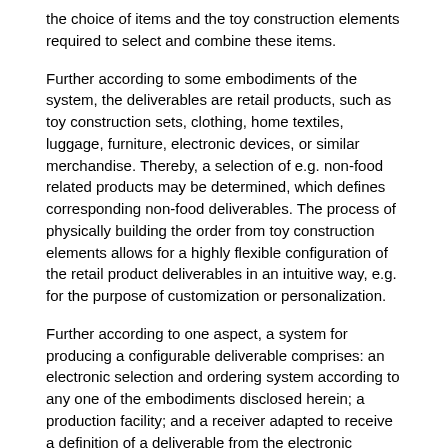the choice of items and the toy construction elements required to select and combine these items.
Further according to some embodiments of the system, the deliverables are retail products, such as toy construction sets, clothing, home textiles, luggage, furniture, electronic devices, or similar merchandise. Thereby, a selection of e.g. non-food related products may be determined, which defines corresponding non-food deliverables. The process of physically building the order from toy construction elements allows for a highly flexible configuration of the retail product deliverables in an intuitive way, e.g. for the purpose of customization or personalization.
Further according to one aspect, a system for producing a configurable deliverable comprises: an electronic selection and ordering system according to any one of the embodiments disclosed herein; a production facility; and a receiver adapted to receive a definition of a deliverable from the electronic selection and ordering system and to pass the definition to the production facility. The production facility is adapted for producing the one or more